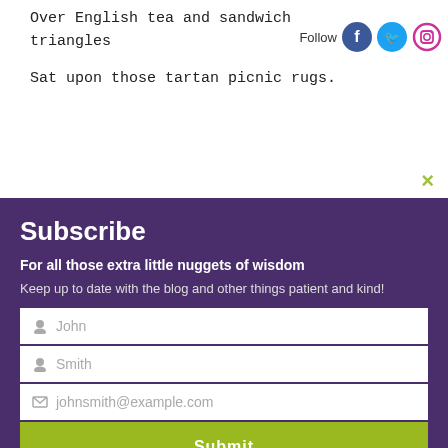Over English tea and sandwich triangles
Sat upon those tartan picnic rugs.
[Figure (infographic): Social media follow icons: Facebook (blue circle), Twitter (blue circle), Instagram (white circle with pink border). 'Follow' label beside them.]
×
Subscribe
For all those extra little nuggets of wisdom
Keep up to date with the blog and other things patient and kind!
John
Smith
johnsmith@example.com
Submit
houses.
I live on the edge of a lovely green park and during the summer it is used for all sorts of